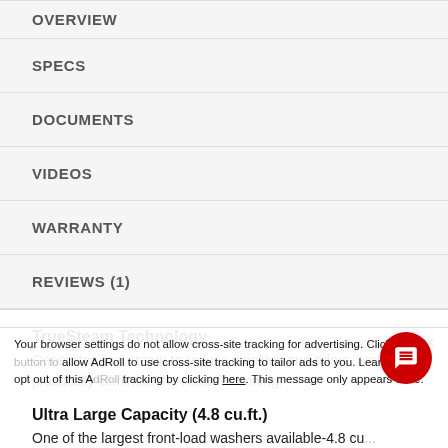OVERVIEW
SPECS
DOCUMENTS
VIDEOS
WARRANTY
REVIEWS (1)
TrueSteam Technology
Generates real steam to reduce wrinkles and odors, and practically eliminate the need for ironing.
Ultra Large Capacity (4.8 cu.ft.)
One of the largest front-load washers available-4.8 cu.ft. capacity.
Your browser settings do not allow cross-site tracking for advertising. Click on the button to allow AdRoll to use cross-site tracking to tailor ads to you. Learn more or opt out of this AdRoll tracking by clicking here. This message only appears once.